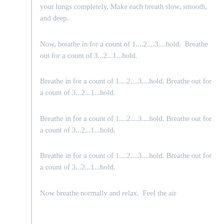your lungs completely. Make each breath slow, smooth, and deep.
Now, breathe in for a count of 1....2....3....hold. Breathe out for a count of 3...2...1...hold.
Breathe in for a count of 1....2....3....hold. Breathe out for a count of 3...2...1...hold.
Breathe in for a count of 1....2....3....hold. Breathe out for a count of 3...2...1...hold.
Breathe in for a count of 1....2....3....hold. Breathe out for a count of 3...2...1...hold.
Now breathe normally and relax. Feel the air